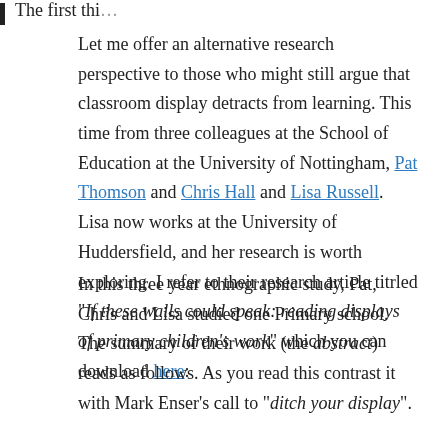Let me offer an alternative research perspective to those who might still argue that classroom display detracts from learning. This time from three colleagues at the School of Education at the University of Nottingham, Pat Thomson and Chris Hall and Lisa Russell. Lisa now works at the University of Huddersfield, and her research is worth exploring. I refer to their research article titrled "If these walls could speak: reading displays of primary children's work" which you can download here:
In this three year ethnographic study, Pat, Chris and Lisa studied one Primary school. The summary of their work (the abstract) reads as follows. As you read this contrast it with Mark Enser's call to "ditch your display".
The first thing crossing over here...